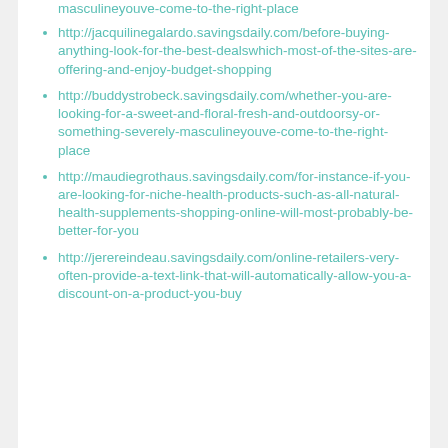masculineyouve-come-to-the-right-place
http://jacquilinegalardo.savingsdaily.com/before-buying-anything-look-for-the-best-dealswhich-most-of-the-sites-are-offering-and-enjoy-budget-shopping
http://buddystrobeck.savingsdaily.com/whether-you-are-looking-for-a-sweet-and-floral-fresh-and-outdoorsy-or-something-severely-masculineyouve-come-to-the-right-place
http://maudiegrothaus.savingsdaily.com/for-instance-if-you-are-looking-for-niche-health-products-such-as-all-natural-health-supplements-shopping-online-will-most-probably-be-better-for-you
http://jerereindeau.savingsdaily.com/online-retailers-very-often-provide-a-text-link-that-will-automatically-allow-you-a-discount-on-a-product-you-buy